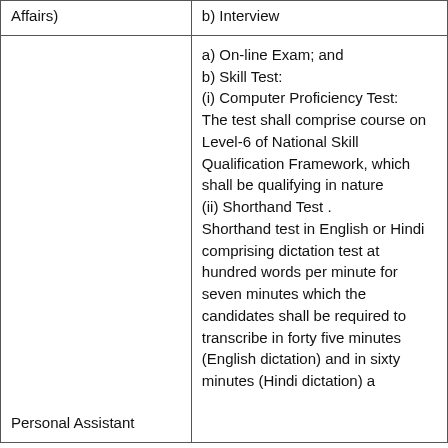| Affairs) | b) Interview |
| Personal Assistant | a) On-line Exam; and
b) Skill Test:
(i) Computer Proficiency Test:
The test shall comprise course on Level-6 of National Skill Qualification Framework, which shall be qualifying in nature
(ii) Shorthand Test .
Shorthand test in English or Hindi comprising dictation test at hundred words per minute for seven minutes which the candidates shall be required to transcribe in forty five minutes (English dictation) and in sixty minutes (Hindi dictation)... |